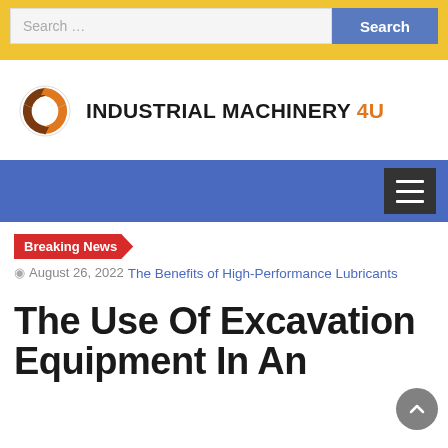Search ... Search
[Figure (logo): Industrial Machinery 4U logo with orange/brown circular arrow icon and bold text]
Navigation bar with hamburger menu icon
Breaking News
August 26, 2022  The Benefits of High-Performance Lubricants
The Use Of Excavation Equipment In An